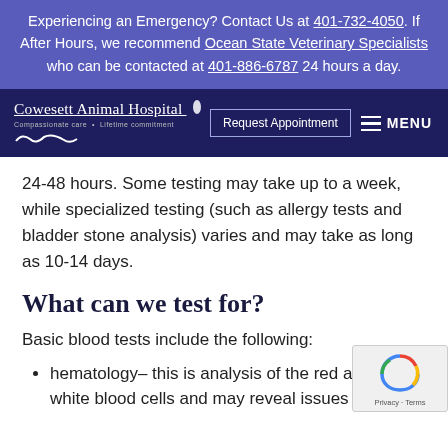Experiencing an Emergency? Contact Us at 401-732-4050. If After Hours, we recommend Ocean State Veterinary Specialists who can be contacted at 401-886-6787 24 hours a day.
[Figure (logo): Cowesett Animal Hospital logo with dog silhouette and tagline]
24-48 hours. Some testing may take up to a week, while specialized testing (such as allergy tests and bladder stone analysis) varies and may take as long as 10-14 days.
What can we test for?
Basic blood tests include the following:
hematology– this is analysis of the red and white blood cells and may reveal issues such as